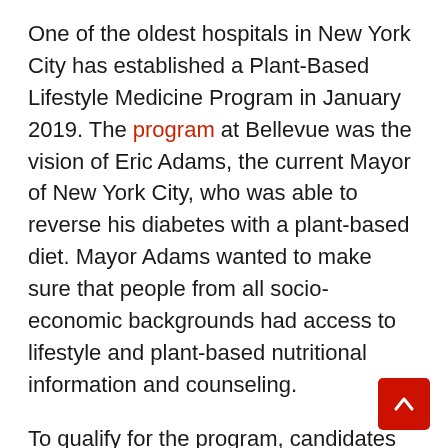One of the oldest hospitals in New York City has established a Plant-Based Lifestyle Medicine Program in January 2019. The program at Bellevue was the vision of Eric Adams, the current Mayor of New York City, who was able to reverse his diabetes with a plant-based diet. Mayor Adams wanted to make sure that people from all socio-economic backgrounds had access to lifestyle and plant-based nutritional information and counseling.
To qualify for the program, candidates must have prediabetes or diabetes, high blood pressure, heart disease, or any health concerns related to obesity, said Sapana Shah, MD, assistant professor of clinical medicine at New York University Grossman School of Medicine